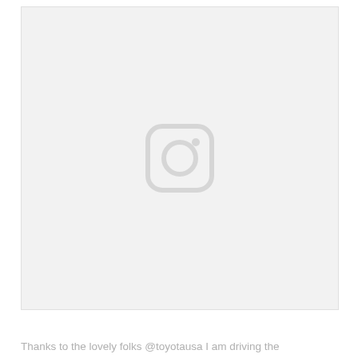[Figure (photo): Placeholder image area with Instagram logo icon centered on a light gray background]
Thanks to the lovely folks @toyotausa I am driving the